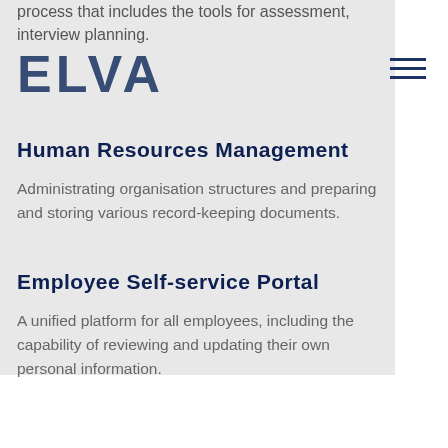process that includes the tools for assessment, interview planning.
[Figure (logo): ELVA logo in dark navy blue large bold letters]
Human Resources Management
Administrating organisation structures and preparing and storing various record-keeping documents.
Employee Self-service Portal
A unified platform for all employees, including the capability of reviewing and updating their own personal information.